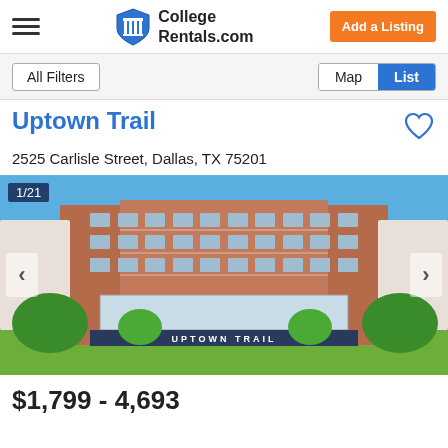College Rentals.com | Add a Listing
All Filters | Map | List
Uptown Trail
2525 Carlisle Street, Dallas, TX 75201
[Figure (photo): Exterior photo of Uptown Trail apartment building, a multi-story brick building with balconies and a sign reading UPTOWN TRAIL at the base. Photo counter shows 1/21.]
$1,799 - 4,693